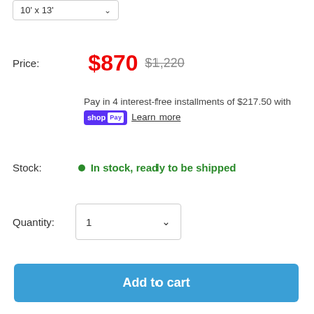10' x 13'
Price: $870  $1,220
Pay in 4 interest-free installments of $217.50 with shop Pay Learn more
Stock: In stock, ready to be shipped
Quantity: 1
Add to cart
Buy it now